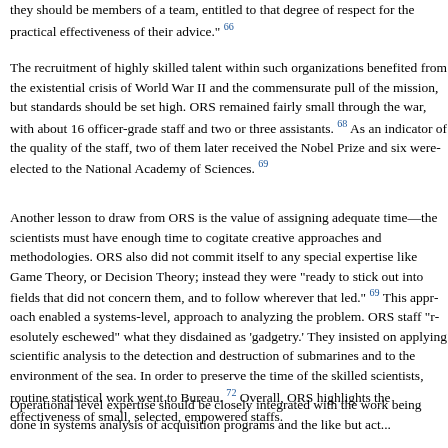they should be members of a team, entitled to that degree of respect for the practical effectiveness of their advice." 66
The recruitment of highly skilled talent within such organizations benefited from the existential crisis of World War II and the commensurate pull of the mission, but standards should be set high. ORS remained fairly small throughout the war, with about 16 officer-grade staff and two or three assistants. 68 As an indicator of the quality of the staff, two of them later received the Nobel Prize and six were elected to the National Academy of Sciences. 69
Another lesson to draw from ORS is the value of assigning adequate time—the scientists must have enough time to cogitate creative approaches and methodologies. ORS also did not commit itself to any special expertise like Game Theory, or Decision Theory; instead they were "ready to stick out into fields that did not concern them, and to follow wherever that led." 69 This approach enabled a systems-level, approach to analyzing the problem. ORS staff "resolutely eschewed" what they disdained as 'gadgetry.' They insisted on applying scientific analysis to the detection and destruction of submarines and to the environment of the sea. In order to preserve the time of the skilled scientists, routine statistical work went to Bureau. 72 Overall, ORS highlights the effectiveness of small, selected, empowered staffs.
Operational level expertise should be closely integrated with the work being done in systems analysis of acquisition programs and the like but act...